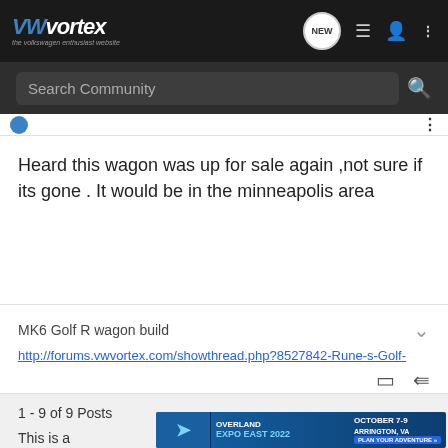VWvortex — the volkswagen enthusiast website
Search Community
Heard this wagon was up for sale again ,not sure if its gone . It would be in the minneapolis area
MK6 Golf R wagon build
http://forums.vwvortex.com/showthread.php?8527842-Rune-s-Golf-
1 - 9 of 9 Posts
This is a
[Figure (screenshot): Overland Expo East 2022 advertisement banner: October 7-9, Arrington, VA, Plan Your Adventure]